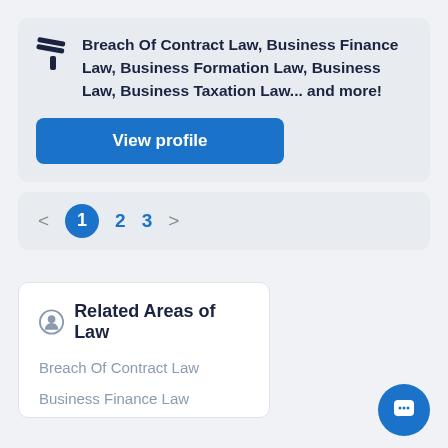Breach Of Contract Law, Business Finance Law, Business Formation Law, Business Law, Business Taxation Law... and more!
View profile
< 1 2 3 >
Related Areas of Law
Breach Of Contract Law
Business Finance Law